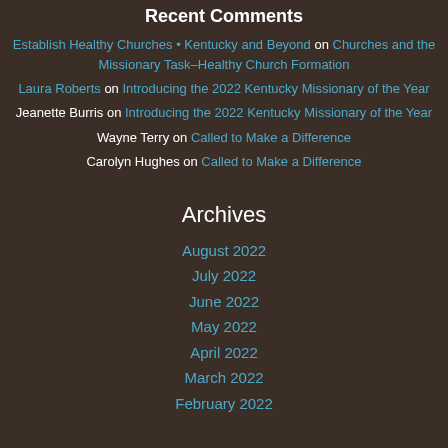Recent Comments
Establish Healthy Churches • Kentucky and Beyond on Churches and the Missionary Task–Healthy Church Formation
Laura Roberts on Introducing the 2022 Kentucky Missionary of the Year
Jeanette Burris on Introducing the 2022 Kentucky Missionary of the Year
Wayne Terry on Called to Make a Difference
Carolyn Hughes on Called to Make a Difference
Archives
August 2022
July 2022
June 2022
May 2022
April 2022
March 2022
February 2022